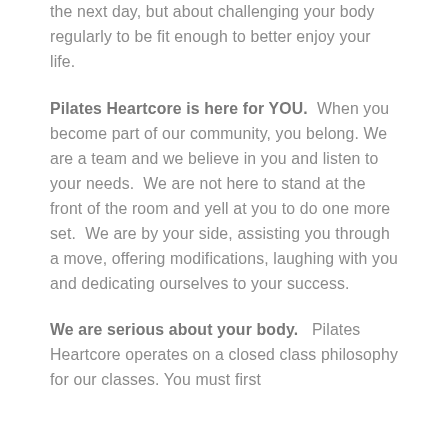the next day, but about challenging your body regularly to be fit enough to better enjoy your life.
Pilates Heartcore is here for YOU. When you become part of our community, you belong. We are a team and we believe in you and listen to your needs. We are not here to stand at the front of the room and yell at you to do one more set. We are by your side, assisting you through a move, offering modifications, laughing with you and dedicating ourselves to your success.
We are serious about your body. Pilates Heartcore operates on a closed class philosophy for our classes. You must first